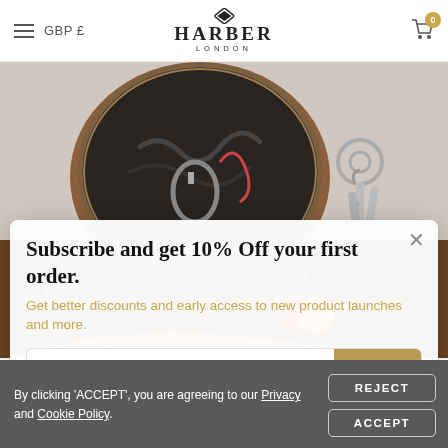GBP £  HARBER LONDON  0
[Figure (photo): Top-down view of an open brown leather round pouch/organizer containing cables, a carabiner clip, and accessories, alongside a set of keys on a light grey background.]
Subscribe and get 10% Off your first order.
Get better discounts and early access to new product launches and more.
email@example.com  SUBMIT
[Figure (photo): A hand holding an open brown leather slim wallet/card holder showing credit cards inside, with a Mastercard visible.]
By clicking 'ACCEPT', you are agreeing to our Privacy and Cookie Policy.
REJECT  ACCEPT